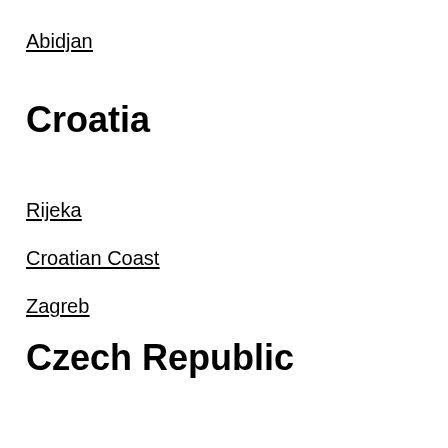Abidjan
Croatia
Rijeka
Croatian Coast
Zagreb
Czech Republic
Brno
Prague
Dominican Republic